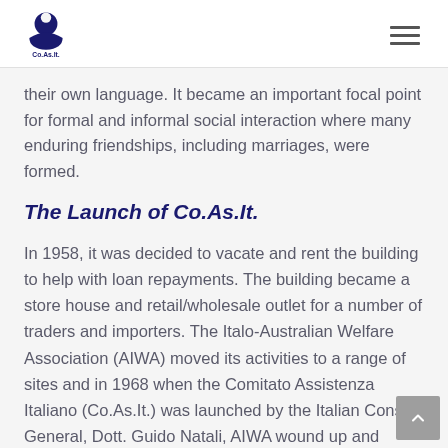Co.As.It. logo and navigation menu
their own language. It became an important focal point for formal and informal social interaction where many enduring friendships, including marriages, were formed.
The Launch of Co.As.It.
In 1958, it was decided to vacate and rent the building to help with loan repayments. The building became a store house and retail/wholesale outlet for a number of traders and importers. The Italo-Australian Welfare Association (AIWA) moved its activities to a range of sites and in 1968 when the Comitato Assistenza Italiano (Co.As.It.) was launched by the Italian Consul-General, Dott. Guido Natali, AIWA wound up and transferred its resources and assets to Co.As.It. This included the "Casa